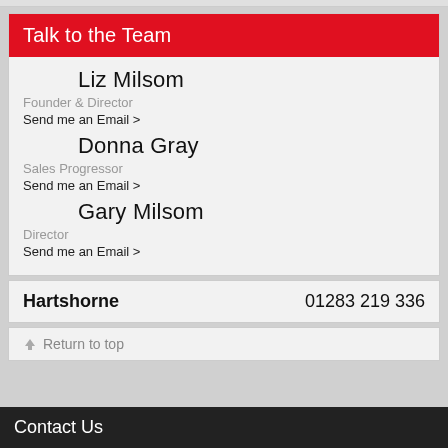Talk to the Team
Liz Milsom
Founder & Director
Send me an Email >
Donna Gray
Sales Progressor
Send me an Email >
Gary Milsom
Director
Send me an Email >
Hartshorne   01283 219 336
Return to top
Contact Us